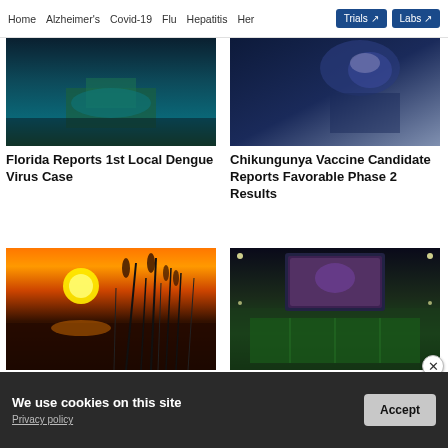Home  Alzheimer's  Covid-19  Flu  Hepatitis  Her  Trials  Labs
[Figure (photo): Aerial view of a coastal landscape with dark water and green land]
Florida Reports 1st Local Dengue Virus Case
[Figure (photo): Close-up of a microscope lens in blue lighting]
Chikungunya Vaccine Candidate Reports Favorable Phase 2 Results
[Figure (photo): Sunset over water with silhouetted reeds/grasses in orange and dark tones]
Chikungunya Vaccine
[Figure (photo): Football stadium at night with scoreboard screen showing a cheerleader]
Dallas Reports 2nd
ADVERTISEMENT
We use cookies on this site
Privacy policy